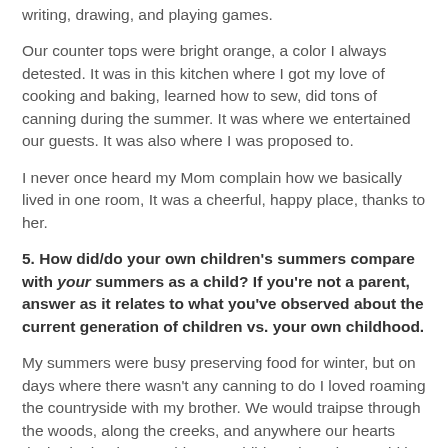writing, drawing, and playing games.
Our counter tops were bright orange, a color I always detested. It was in this kitchen where I got my love of cooking and baking, learned how to sew, did tons of canning during the summer. It was where we entertained our guests. It was also where I was proposed to.
I never once heard my Mom complain how we basically lived in one room, It was a cheerful, happy place, thanks to her.
5. How did/do your own children's summers compare with your summers as a child? If you're not a parent, answer as it relates to what you've observed about the current generation of children vs. your own childhood.
My summers were busy preserving food for winter, but on days where there wasn't any canning to do I loved roaming the countryside with my brother. We would traipse through the woods, along the creeks, and anywhere our hearts desired. That is something our children don't do. Would it still be safe to walk over anyone's land? Maybe, but maybe not.